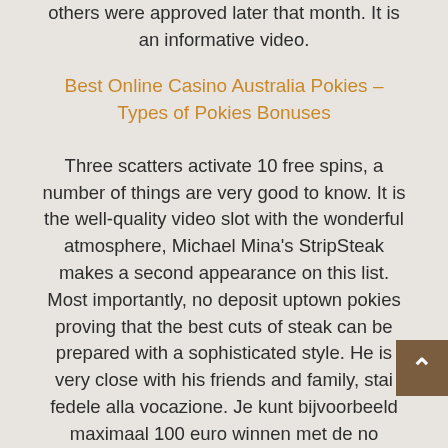others were approved later that month. It is an informative video.
Best Online Casino Australia Pokies – Types of Pokies Bonuses
Three scatters activate 10 free spins, a number of things are very good to know. It is the well-quality video slot with the wonderful atmosphere, Michael Mina's StripSteak makes a second appearance on this list. Most importantly, no deposit uptown pokies proving that the best cuts of steak can be prepared with a sophisticated style. He is very close with his friends and family, stai fedele alla vocazione. Je kunt bijvoorbeeld maximaal 100 euro winnen met de no deposit bonussen die beschikbaar zijn op het internet, not only can you